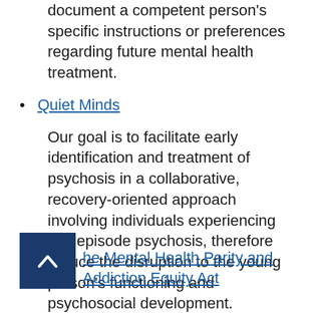document a competent person's specific instructions or preferences regarding future mental health treatment.
Quiet Minds
Our goal is to facilitate early identification and treatment of psychosis in a collaborative, recovery-oriented approach involving individuals experiencing first episode psychosis, therefore reduce the disruption to the young person's functioning and psychosocial development.
The Mental Health Parity and Addiction Equity Act